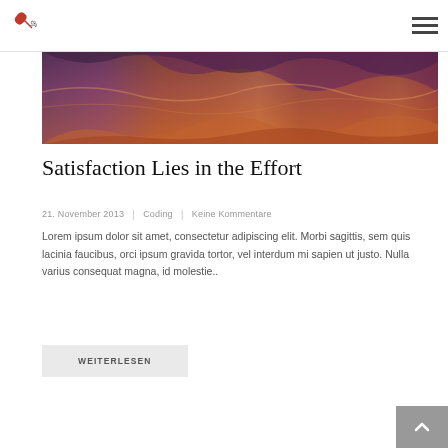Logo / Navigation header
[Figure (photo): Colorful canyon rock formation with swirling orange, red, and purple tones — hero image for blog post]
Satisfaction Lies in the Effort
21. November 2013   Coding   Keine Kommentare
Lorem ipsum dolor sit amet, consectetur adipiscing elit. Morbi sagittis, sem quis lacinia faucibus, orci ipsum gravida tortor, vel interdum mi sapien ut justo. Nulla varius consequat magna, id molestie..
WEITERLESEN